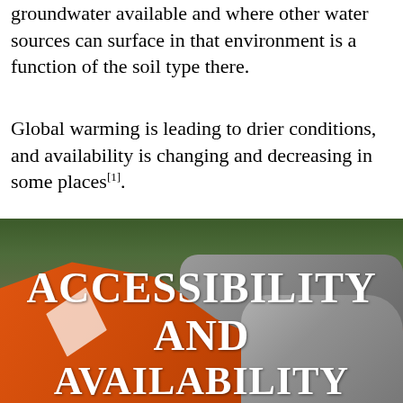groundwater available and where other water sources can surface in that environment is a function of the soil type there.
Global warming is leading to drier conditions, and availability is changing and decreasing in some places [1].
[Figure (photo): A person in an orange long-sleeve shirt bending down near rocky terrain with green foliage in the background. Large white text overlaid reads ACCESSIBILITY AND AVAILABILITY.]